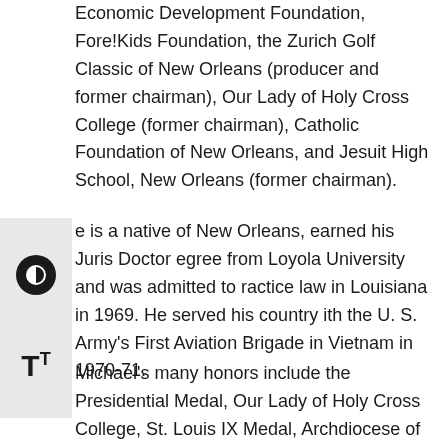Economic Development Foundation, Fore!Kids Foundation, the Zurich Golf Classic of New Orleans (producer and former chairman), Our Lady of Holy Cross College (former chairman), Catholic Foundation of New Orleans, and Jesuit High School, New Orleans (former chairman).
e is a native of New Orleans, earned his Juris Doctor egree from Loyola University and was admitted to ractice law in Louisiana in 1969. He served his country ith the U. S. Army's First Aviation Brigade in Vietnam in 1970-71.
Michael's many honors include the Presidential Medal, Our Lady of Holy Cross College, St. Louis IX Medal, Archdiocese of New Orleans, St. Elizabeth's Guild – Volunteer Activist, and Young Leadership Council's Role